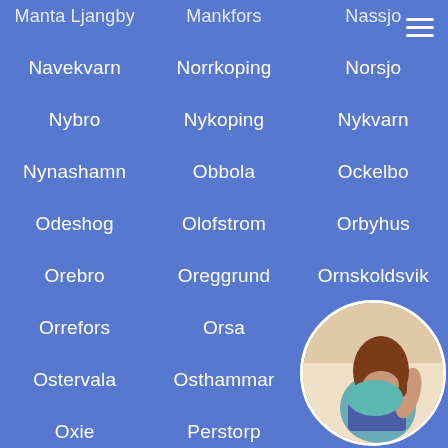Navekvarn   Norrkoping   Norsjo
Nybro   Nykoping   Nykvarn
Nynashamn   Obbola   Ockelbo
Odeshog   Olofstrom   Orbyhus
Orebro   Oreggrund   Ornskoldsvik
Orrefors   Orsa   Osterbybruk
Ostervala   Osthammar   Oxelosund
Oxie   Perstorp   Pitea
Rimbo   Robertsfors   R...
Ronneby   Rosenlund   Roser...
[Figure (photo): Circular photo of a woman in a teal top and denim shorts, cropped, in the bottom-right corner]